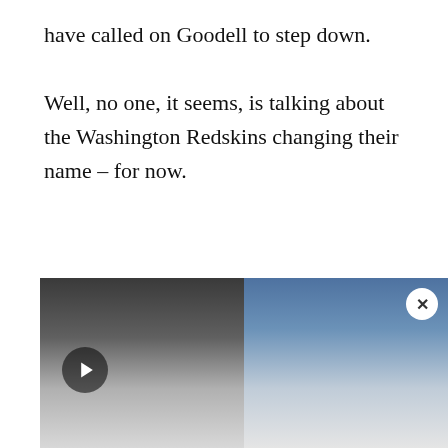have called on Goodell to step down.

Well, no one, it seems, is talking about the Washington Redskins changing their name – for now.
[Figure (infographic): Social media share buttons: Facebook (blue), Twitter (light blue), Telegram (blue), Email (green), Print (orange)]
[Figure (photo): Two side-by-side photos of people, partially visible, cropped at the top. A play button overlay on the left photo and a close button on the right.]